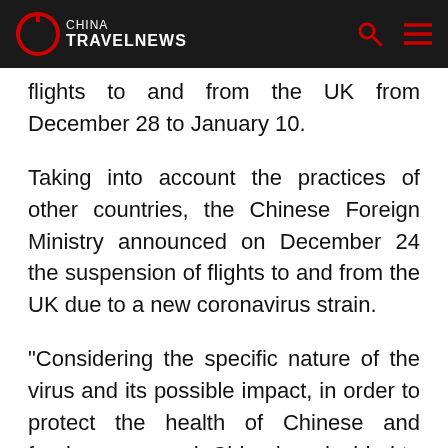China TravelNews
flights to and from the UK from December 28 to January 10.
Taking into account the practices of other countries, the Chinese Foreign Ministry announced on December 24 the suspension of flights to and from the UK due to a new coronavirus strain.
"Considering the specific nature of the virus and its possible impact, in order to protect the health of Chinese and foreign personnel, China has decided to suspend flights to and from the UK after a full assessment and taking into account the practices of other countries," Foreign Ministry spokesperson Wang Wenbin said.